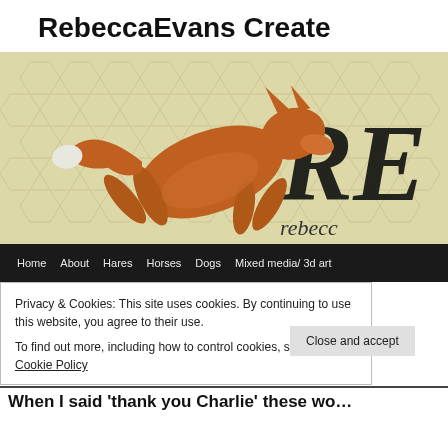RebeccaEvans Create
[Figure (illustration): Banner image showing a leaping red fox over a honeycomb-patterned yellow background with large italic 'RE' letters and 'rebecca' text]
Home   About   Hares   Horses   Dogs   Mixed media/ 3d art
Privacy & Cookies: This site uses cookies. By continuing to use this website, you agree to their use.
To find out more, including how to control cookies, see here: Cookie Policy
Close and accept
When I said 'thank you Charlie' these wo…